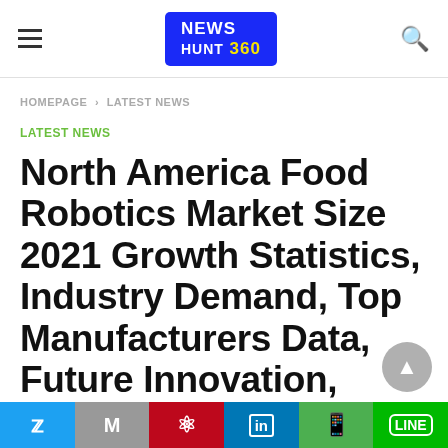NEWS HUNT 360
HOMEPAGE > LATEST NEWS
LATEST NEWS
North America Food Robotics Market Size 2021 Growth Statistics, Industry Demand, Top Manufacturers Data, Future Innovation,